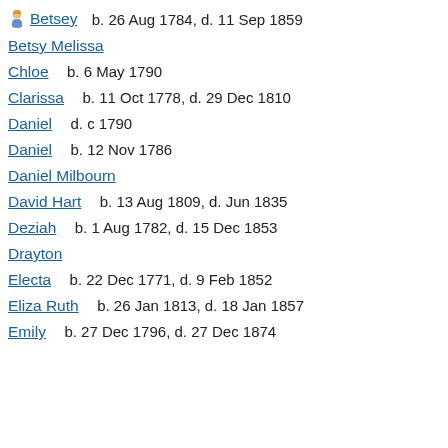Betsey  b. 26 Aug 1784, d. 11 Sep 1859
Betsy Melissa
Chloe    b. 6 May 1790
Clarissa    b. 11 Oct 1778, d. 29 Dec 1810
Daniel    d. c 1790
Daniel    b. 12 Nov 1786
Daniel Milbourn
David Hart    b. 13 Aug 1809, d. Jun 1835
Deziah    b. 1 Aug 1782, d. 15 Dec 1853
Drayton
Electa    b. 22 Dec 1771, d. 9 Feb 1852
Eliza Ruth    b. 26 Jan 1813, d. 18 Jan 1857
Emily    b. 27 Dec 1796, d. 27 Dec 1874